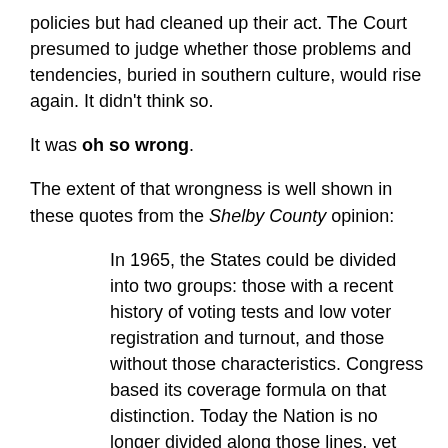policies but had cleaned up their act. The Court presumed to judge whether those problems and tendencies, buried in southern culture, would rise again. It didn't think so.
It was oh so wrong.
The extent of that wrongness is well shown in these quotes from the Shelby County opinion:
In 1965, the States could be divided into two groups: those with a recent history of voting tests and low voter registration and turnout, and those without those characteristics. Congress based its coverage formula on that distinction. Today the Nation is no longer divided along those lines, yet the Voting Rights Act continues to treat it as if it were....
If Congress had started from scratch in 2006, it plainly could not have enacted the present coverage formula. It would have been irrational for Congress